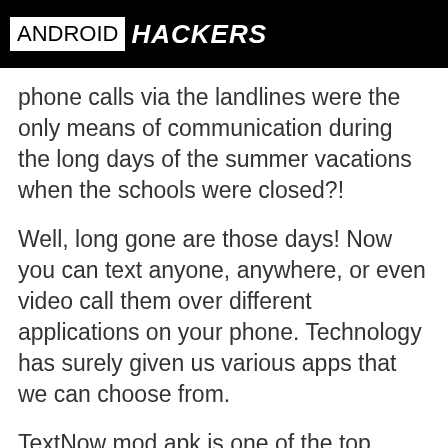ANDROID HACKERS
phone calls via the landlines were the only means of communication during the long days of the summer vacations when the schools were closed?!
Well, long gone are those days! Now you can text anyone, anywhere, or even video call them over different applications on your phone. Technology has surely given us various apps that we can choose from.
TextNow mod apk is one of the top suggestions that we would make you. One may wonder that it is simply just another application that will help us connect with our friends quite easily. Then what is so special about this particular application named TextNow? Just the question we were waiting for! The answer to the question that popped in your head right